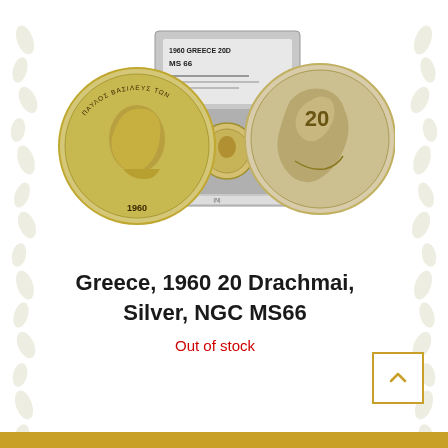[Figure (photo): Greek silver coin 1960 20 Drachmai NGC MS66 — obverse showing King Paul profile left with Greek inscription, reverse showing seated figure with '20', plus NGC grading slab with MS66 label and small coin thumbnail]
Greece, 1960 20 Drachmai, Silver, NGC MS66
Out of stock